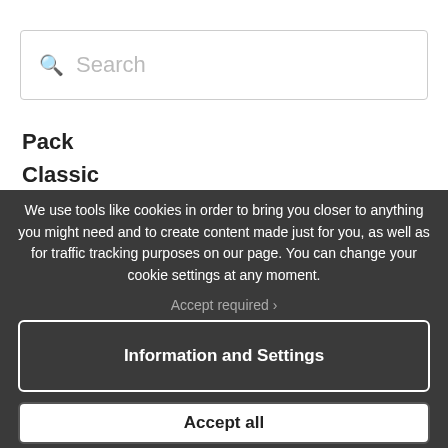[Figure (screenshot): Search bar with magnifying glass icon and placeholder text 'Search']
Pack
Classic
Taste
We use tools like cookies in order to bring you closer to anything you might need and to create content made just for you, as well as for traffic tracking purposes on our page. You can change your cookie settings at any moment.
Accept required ›
Information and Settings
Accept all